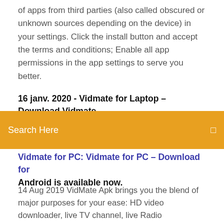of apps from third parties (also called obscured or unknown sources depending on the device) in your settings. Click the install button and accept the terms and conditions; Enable all app permissions in the app settings to serve you better.
16 janv. 2020 - Vidmate for Laptop – Download Vidmate
[Figure (screenshot): Orange search bar UI element with 'Search Here' placeholder text and a search icon on the right]
Vidmate for PC: Vidmate for PC – Download for Android is available now.
14 Aug 2019 VidMate Apk brings you the blend of major purposes for your ease: HD video downloader, live TV channel, live Radio broadcasts, video site  Vidmate For PC/Windows/Laptop Free Download on Windows 10/8.1/8/7/XP First of all, you need to download NOX App player; Now, download APK file from  You will need to first download it as a separate APK file and save it somewhere on your PC. After you have downloaded the Vidmate video downloading mobile